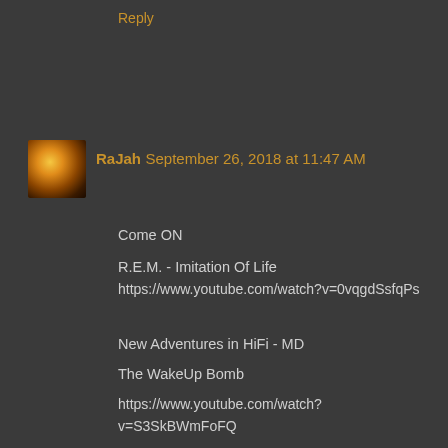Reply
[Figure (photo): Small avatar image showing a glowing golden orb or planet on dark background]
RaJah September 26, 2018 at 11:47 AM
Come ON

R.E.M. - Imitation Of Life
https://www.youtube.com/watch?v=0vqgdSsfqPs


New Adventures in HiFi - MD

The WakeUp Bomb

https://www.youtube.com/watch?v=S3SkBWmFoFQ


DK